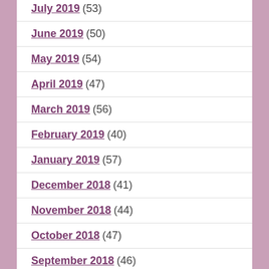July 2019 (53)
June 2019 (50)
May 2019 (54)
April 2019 (47)
March 2019 (56)
February 2019 (40)
January 2019 (57)
December 2018 (41)
November 2018 (44)
October 2018 (47)
September 2018 (46)